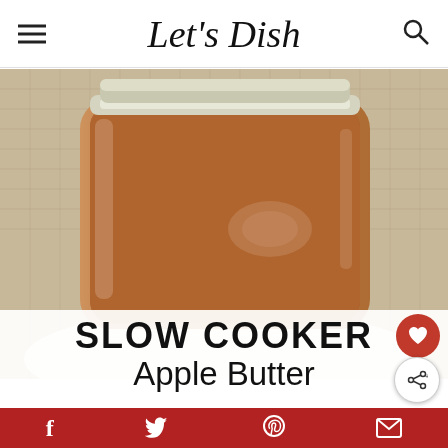Let's Dish
[Figure (photo): Close-up photo of a glass jar filled with dark brown apple butter, sitting on a burlap surface with a white dish visible in background]
SLOW COOKER Apple Butter
letsdishrecipes.com
f  [twitter bird]  [pinterest P]  [email icon]